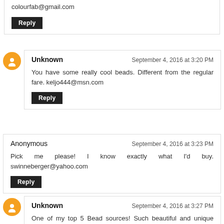colourfab@gmail.com
Reply
Unknown — September 4, 2016 at 3:20 PM
You have some really cool beads. Different from the regular fare. keljo444@msn.com
Reply
Anonymous — September 4, 2016 at 3:23 PM
Pick me please! I know exactly what I'd buy. swinneberger@yahoo.com
Reply
Unknown — September 4, 2016 at 3:27 PM
One of my top 5 Bead sources! Such beautiful and unique beads. Love love love my Stinky Dogs!
Reply